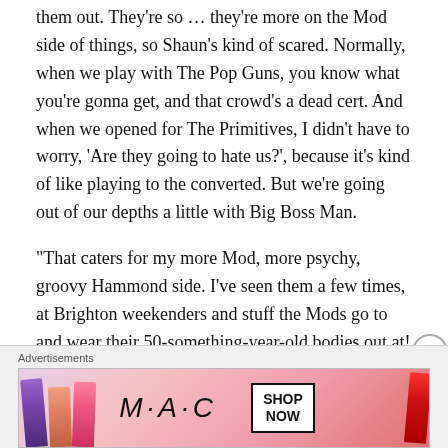them out. They're so … they're more on the Mod side of things, so Shaun's kind of scared. Normally, when we play with The Pop Guns, you know what you're gonna get, and that crowd's a dead cert. And when we opened for The Primitives, I didn't have to worry, 'Are they going to hate us?', because it's kind of like playing to the converted. But we're going out of our depths a little with Big Boss Man.
“That caters for my more Mod, more psychy, groovy Hammond side. I’ve seen them a few times, at Brighton weekenders and stuff the Mods go to and wear their 50-something-year-old bodies out at! They’re just amazing, proper musicians just absolutely giving it their all. They’re
[Figure (infographic): MAC Cosmetics advertisement banner showing lipsticks in purple, peach, pink, and red colors with MAC brand name in italic script and a SHOP NOW button in a black-bordered box.]